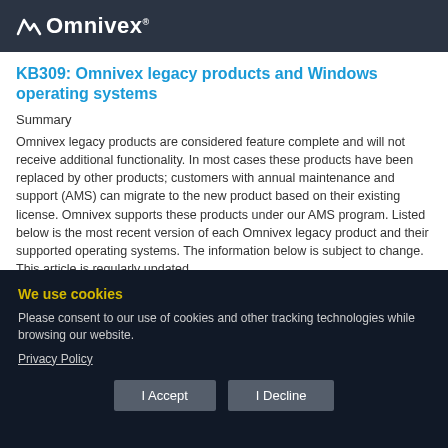Omnivex
KB309: Omnivex legacy products and Windows operating systems
Summary
Omnivex legacy products are considered feature complete and will not receive additional functionality. In most cases these products have been replaced by other products; customers with annual maintenance and support (AMS) can migrate to the new product based on their existing license. Omnivex supports these products under our AMS program. Listed below is the most recent version of each Omnivex legacy product and their supported operating systems. The information below is subject to change. This article is regularly updated.
Privacy settings
We use cookies
Please consent to our use of cookies and other tracking technologies while browsing our website.
Privacy Policy
I Accept
I Decline